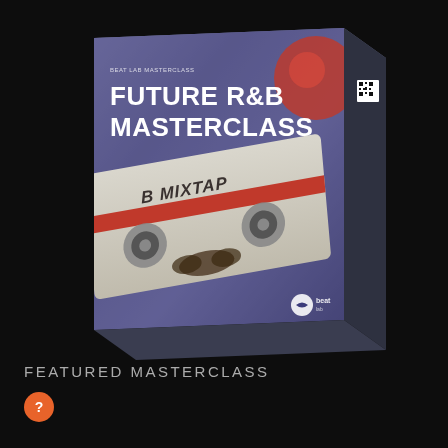[Figure (illustration): 3D product box for 'Future R&B Masterclass' by Beat Lab Masterclass. The box features a purple/lavender color scheme with a cassette tape (B Mixtape) image on the front, white bold text reading 'FUTURE R&B MASTERCLASS', a dark spine with a QR code, and a Beat Lab logo at the bottom right of the front face.]
FEATURED MASTERCLASS
[Figure (other): Orange circular button with a question mark icon]